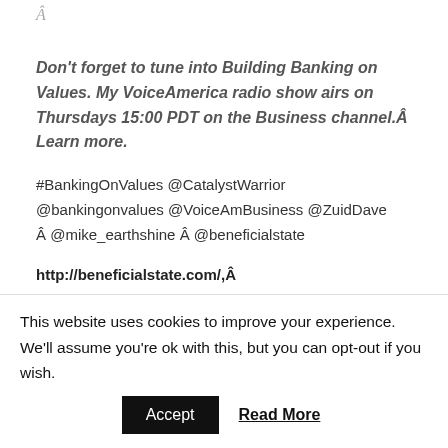Â
Don't forget to tune into Building Banking on Values. My VoiceAmerica radio show airs on Thursdays 15:00 PDT on the Business channel.Â Learn more.
#BankingOnValues @CatalystWarrior @bankingonvalues @VoiceAmBusiness @ZuidDave Â @mike_earthshine Â @beneficialstate
http://beneficialstate.com/,Â https://www.linkedin.com/in/kat-taylor
This website uses cookies to improve your experience. We'll assume you're ok with this, but you can opt-out if you wish.
Accept  Read More